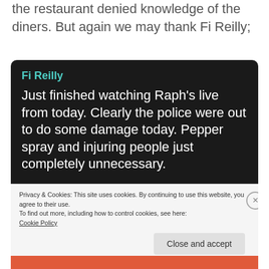the restaurant denied knowledge of the diners. But again we may thank Fi Reilly;
[Figure (screenshot): Screenshot of a social media post by Fi Reilly with dark background, reading: 'Just finished watching Raph's live from today. Clearly the police were out to do some damage today. Pepper spray and injuring people just completely unnecessary.' Below is a cookie consent banner with 'Privacy & Cookies: This site uses cookies. By continuing to use this website, you agree to their use. To find out more, including how to control cookies, see here: Cookie Policy' and a 'Close and accept' button.]